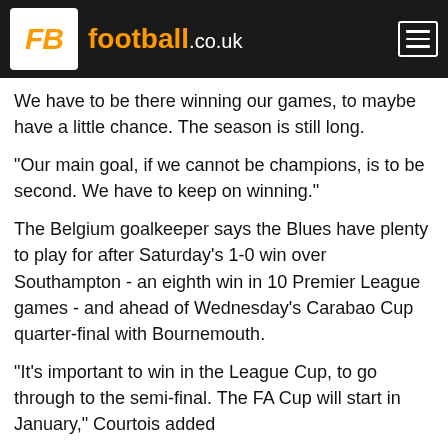FB football.co.uk
We have to be there winning our games, to maybe have a little chance. The season is still long.
"Our main goal, if we cannot be champions, is to be second. We have to keep on winning."
The Belgium goalkeeper says the Blues have plenty to play for after Saturday's 1-0 win over Southampton - an eighth win in 10 Premier League games - and ahead of Wednesday's Carabao Cup quarter-final with Bournemouth.
"It's important to win in the League Cup, to go through to the semi-final. The FA Cup will start in January," Courtois added
"Champions League we have a tough draw against Barcelona. We are a big team as well. We have chances